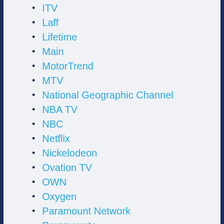ITV
Laff
Lifetime
Main
MotorTrend
MTV
National Geographic Channel
NBA TV
NBC
Netflix
Nickelodeon
Ovation TV
OWN
Oxygen
Paramount Network
Paramount+
PBS
Peacock